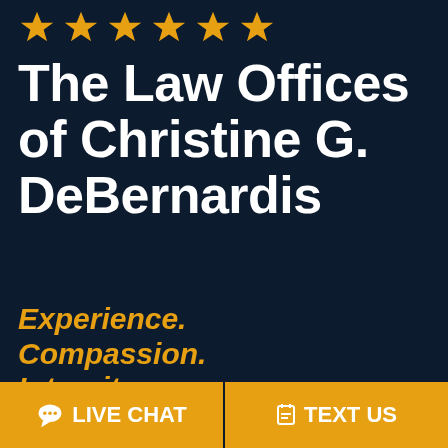[Figure (illustration): Row of 6 gold/orange star rating icons on dark navy background]
The Law Offices of Christine G. DeBernardis
Experience. Compassion. Integrity
Over 20 years of experience helping familes in New Hampshire & Massachusetts
LIVE CHAT
TEXT US